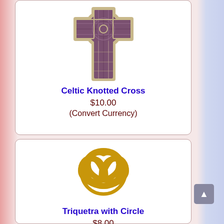[Figure (illustration): Celtic Knotted Cross emblem with interlaced knotwork pattern in purple/brown tones with beige border]
Celtic Knotted Cross
$10.00
(Convert Currency)
[Figure (illustration): Triquetra with Circle symbol in golden yellow color, a three-lobed Celtic knot with an encircling ring]
Triquetra with Circle
$8.00